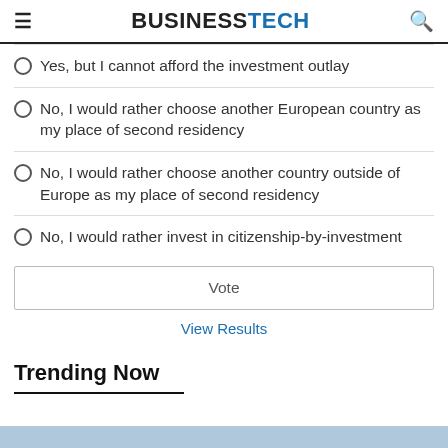BUSINESSTECH
Yes, but I cannot afford the investment outlay
No, I would rather choose another European country as my place of second residency
No, I would rather choose another country outside of Europe as my place of second residency
No, I would rather invest in citizenship-by-investment
Vote
View Results
Trending Now